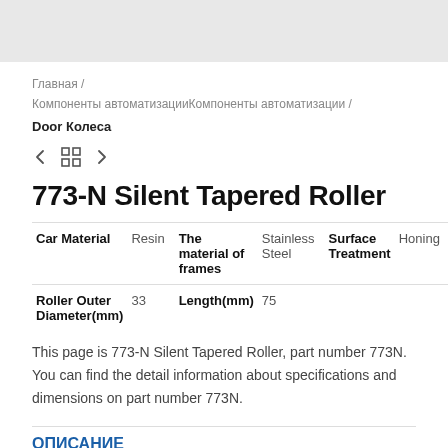[Figure (other): Gray header bar area at top of page]
Главная / Компоненты автоматизацииКомпоненты автоматизации / Door Колеса
773-N Silent Tapered Roller
| Car Material | Resin | The material of frames | Stainless Steel | Surface Treatment | Honing |
| --- | --- | --- | --- | --- | --- |
| Roller Outer Diameter(mm) | 33 | Length(mm) | 75 |  |  |
This page is 773-N Silent Tapered Roller, part number 773N. You can find the detail information about specifications and dimensions on part number 773N.
ОПИСАНИЕ